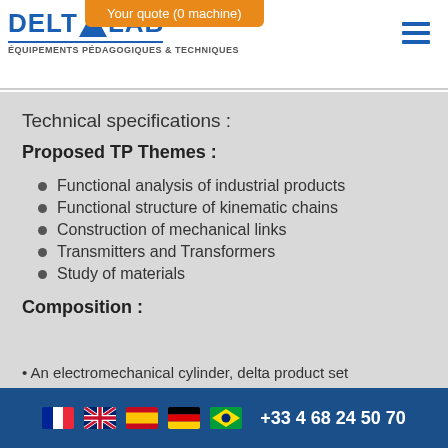[Figure (logo): Delta Lab logo with blue triangle, text DELTALAB, tagline ÉQUIPEMENTS PÉDAGOGIQUES & TECHNIQUES]
Your quote (0 machine)
Technical specifications :
Proposed TP Themes :
Functional analysis of industrial products
Functional structure of kinematic chains
Construction of mechanical links
Transmitters and Transformers
Study of materials
Composition :
+33 4 68 24 50 70